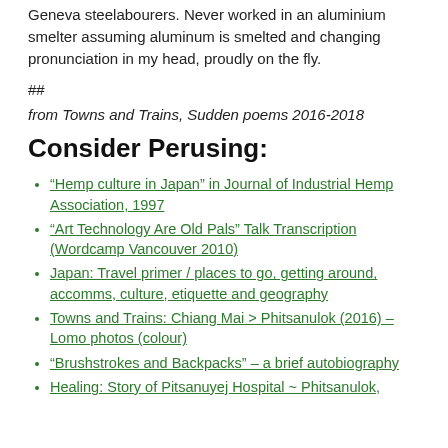Geneva steelabourers. Never worked in an aluminium smelter assuming aluminum is smelted and changing pronunciation in my head, proudly on the fly.
##
from Towns and Trains, Sudden poems 2016-2018
Consider Perusing:
“Hemp culture in Japan” in Journal of Industrial Hemp Association, 1997
“Art Technology Are Old Pals” Talk Transcription (Wordcamp Vancouver 2010)
Japan: Travel primer / places to go, getting around, accomms, culture, etiquette and geography
Towns and Trains: Chiang Mai > Phitsanulok (2016) – Lomo photos (colour)
“Brushstrokes and Backpacks” – a brief autobiography
Healing: Story of Pitsanuyej Hospital ~ Phitsanulok,